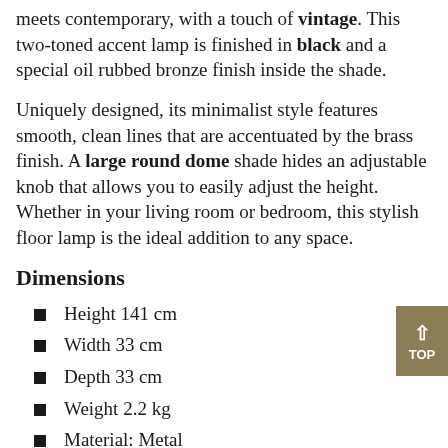meets contemporary, with a touch of vintage. This two-toned accent lamp is finished in black and a special oil rubbed bronze finish inside the shade.
Uniquely designed, its minimalist style features smooth, clean lines that are accentuated by the brass finish. A large round dome shade hides an adjustable knob that allows you to easily adjust the height. Whether in your living room or bedroom, this stylish floor lamp is the ideal addition to any space.
Dimensions
Height 141 cm
Width 33 cm
Depth 33 cm
Weight 2.2 kg
Material: Metal